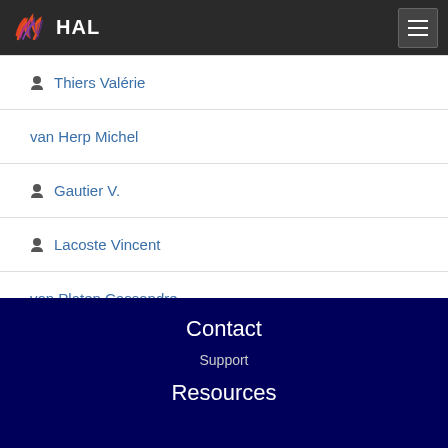HAL
Thiers Valérie
van Herp Michel
Gautier V.
Lacoste Vincent
von Platen Cassandre
Guerardel Yann
Contact
Support
Resources